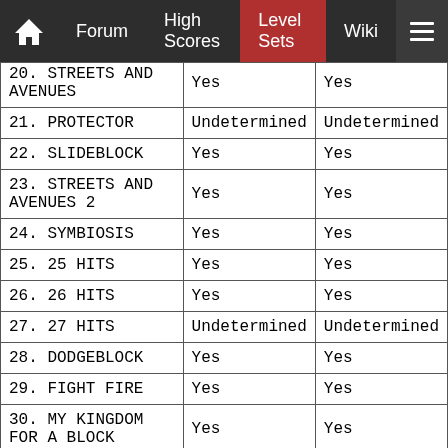Forum | High Scores | Level Sets | Wiki
| Level | Col2 | Col3 |
| --- | --- | --- |
| 20. STREETS AND AVENUES | Yes | Yes |
| 21. PROTECTOR | Undetermined | Undetermined |
| 22. SLIDEBLOCK | Yes | Yes |
| 23. STREETS AND AVENUES 2 | Yes | Yes |
| 24. SYMBIOSIS | Yes | Yes |
| 25. 25 HITS | Yes | Yes |
| 26. 26 HITS | Yes | Yes |
| 27. 27 HITS | Undetermined | Undetermined |
| 28. DODGEBLOCK | Yes | Yes |
| 29. FIGHT FIRE | Yes | Yes |
| 30. MY KINGDOM FOR A BLOCK | Yes | Yes |
| 31. OUT FOR A WALK | Yes | Yes |
| 32. TOGGLE TRAPS | Yes | Yes |
| 33. HAMILTON | Yes | Yes |